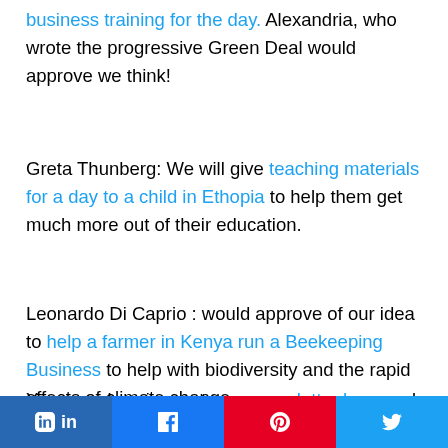business training for the day. Alexandria, who wrote the progressive Green Deal would approve we think!
Greta Thunberg: We will give teaching materials for a day to a child in Ethopia to help them get much more out of their education.
Leonardo Di Caprio : would approve of our idea to help a farmer in Kenya run a Beekeeping Business to help with biodiversity and the rapid effects of climate change.
You can also sign up to our newsletter here and
[Figure (infographic): Social share buttons: LinkedIn (dark blue), Facebook (blue), Pinterest (red), Twitter (light blue)]